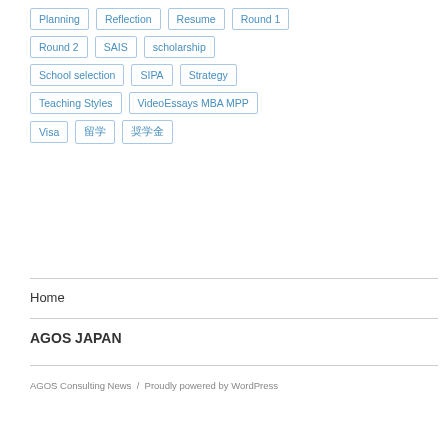Planning
Reflection
Resume
Round 1
Round 2
SAIS
scholarship
School selection
SIPA
Strategy
Teaching Styles
VideoEssays MBA MPP
Visa
留学
奨学金
Home
AGOS JAPAN
AGOS Consulting News / Proudly powered by WordPress